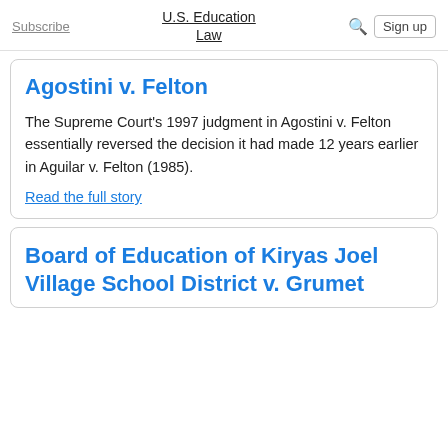Subscribe | U.S. Education Law | Sign up
Agostini v. Felton
The Supreme Court's 1997 judgment in Agostini v. Felton essentially reversed the decision it had made 12 years earlier in Aguilar v. Felton (1985).
Read the full story
Board of Education of Kiryas Joel Village School District v. Grumet